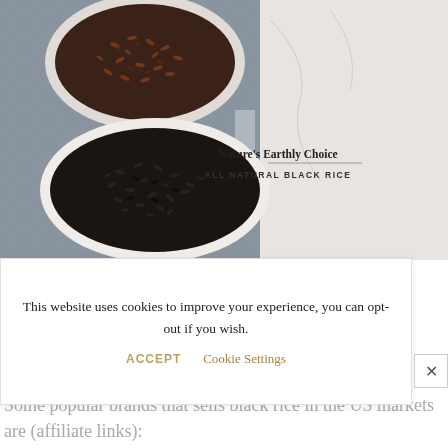[Figure (photo): Two bowls of rice on a blue-gray linen cloth. Top bowl contains reddish-brown rice grains; bottom bowl contains black rice grains. To the right a white marble surface with text: Nature's Earthly Choice (bold serif) with underline, ALL NATURAL BLACK RICE (small caps).]
This website uses cookies to improve your experience, you can opt-out if you wish.
ACCEPT   Cookie Settings
ion
Some popular brands that sells black rice in the US markets are (affiliate links):